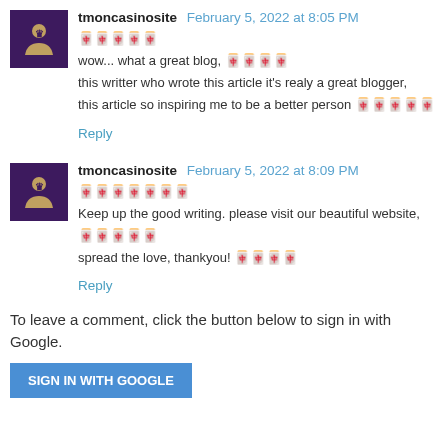tmoncasinosite February 5, 2022 at 8:05 PM
🀄🀄🀄🀄🀄
wow... what a great blog, 🀄🀄🀄🀄
this writter who wrote this article it's realy a great blogger, this article so inspiring me to be a better person 🀄🀄🀄🀄🀄
Reply
tmoncasinosite February 5, 2022 at 8:09 PM
🀄🀄🀄🀄🀄🀄🀄
Keep up the good writing. please visit our beautiful website, 🀄🀄🀄🀄🀄
spread the love, thankyou! 🀄🀄🀄🀄
Reply
To leave a comment, click the button below to sign in with Google.